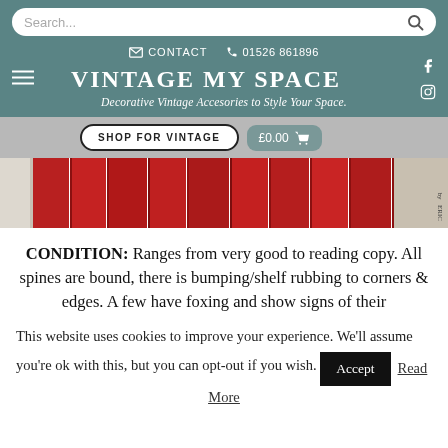Search... [search icon]
CONTACT  01526 861896
VINTAGE MY SPACE
Decorative Vintage Accessories to Style Your Space.
SHOP FOR VINTAGE   £0.00 [cart]
[Figure (photo): Horizontal strip showing spines of vintage red hardback books, with a lighter coloured book section on the left and a greyish book on the right with text 'by ERIC']
CONDITION: Ranges from very good to reading copy. All spines are bound, there is bumping/shelf rubbing to corners & edges. A few have foxing and show signs of their
This website uses cookies to improve your experience. We'll assume you're ok with this, but you can opt-out if you wish.
Accept   Read More